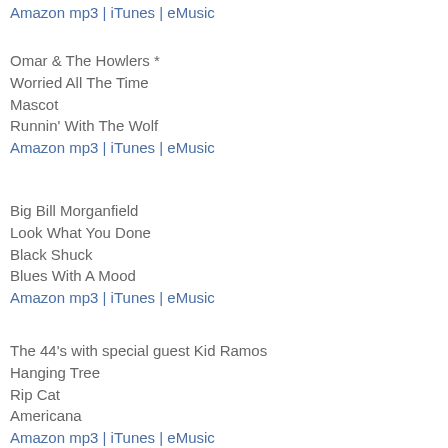Amazon mp3 | iTunes | eMusic
Omar & The Howlers *
Worried All The Time
Mascot
Runnin' With The Wolf
Amazon mp3 | iTunes | eMusic
Big Bill Morganfield
Look What You Done
Black Shuck
Blues With A Mood
Amazon mp3 | iTunes | eMusic
The 44's with special guest Kid Ramos
Hanging Tree
Rip Cat
Americana
Amazon mp3 | iTunes | eMusic